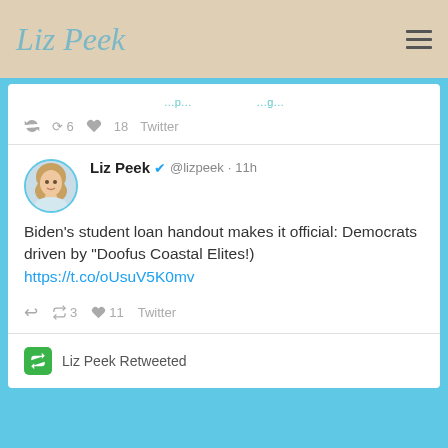Liz Peek
↺ 6  ♥ 18  Twitter
Liz Peek @lizpeek · 11h
Biden's student loan handout makes it official: Democrats driven by "Doofus Coastal Elites!) https://t.co/oUsuV5K0mv
↺ 3  ♥ 11  Twitter
Liz Peek Retweeted